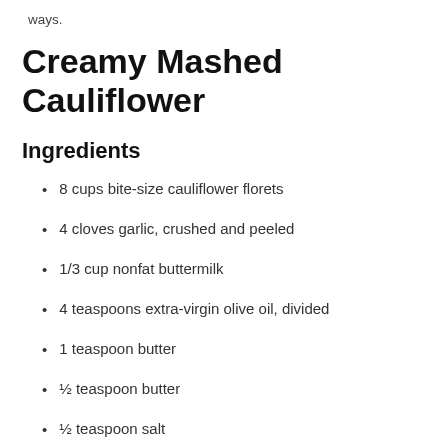ways.
Creamy Mashed Cauliflower
Ingredients
8 cups bite-size cauliflower florets
4 cloves garlic, crushed and peeled
1/3 cup nonfat buttermilk
4 teaspoons extra-virgin olive oil, divided
1 teaspoon butter
½ teaspoon butter
½ teaspoon salt